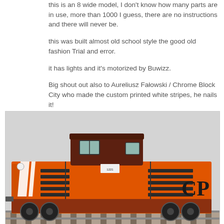this is an 8 wide model, I don't know how many parts are in use, more than 1000 I guess, there are no instructions and there will never be.
this was built almost old school style the good old fashion Trial and error.
it has lights and it's motorized by Buwizz.
Big shout out also to Aureliusz Fałowski / Chrome Block City who made the custom printed white stripes, he nails it!
[Figure (photo): Photo of an orange LEGO locomotive model with white stripes and CP logo, built in 8-wide style, motorized by Buwizz, with dark brown cab section, ventilation grilles, and sitting on track.]